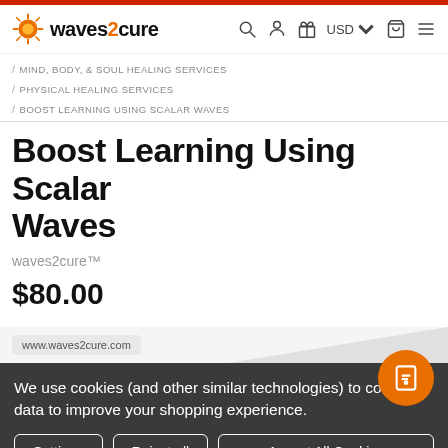waves2cure — USD — Navigation icons
/ MIND, BODY, & SOUL HEALING SERVICES
/ PHYSICAL HEALING SERVICES
/ BOOST LEARNING USING SCALAR WAVES
Boost Learning Using Scalar Waves
waves2cure™
$80.00
www.waves2cure.com
We use cookies (and other similar technologies) to collect data to improve your shopping experience.
Settings  Reject all  Accept All Cookies